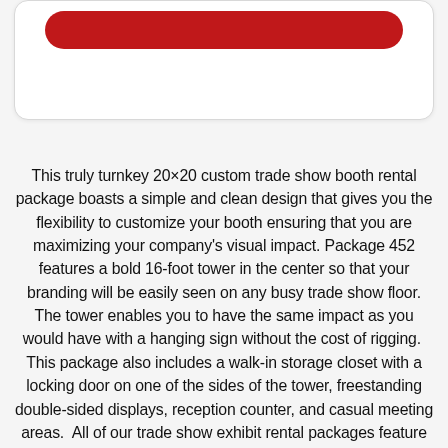[Figure (other): Red rounded button UI element at top of card]
This truly turnkey 20×20 custom trade show booth rental package boasts a simple and clean design that gives you the flexibility to customize your booth ensuring that you are maximizing your company's visual impact. Package 452 features a bold 16-foot tower in the center so that your branding will be easily seen on any busy trade show floor. The tower enables you to have the same impact as you would have with a hanging sign without the cost of rigging.  This package also includes a walk-in storage closet with a locking door on one of the sides of the tower, freestanding double-sided displays, reception counter, and casual meeting areas.  All of our trade show exhibit rental packages feature top-of-the-line technology coupled